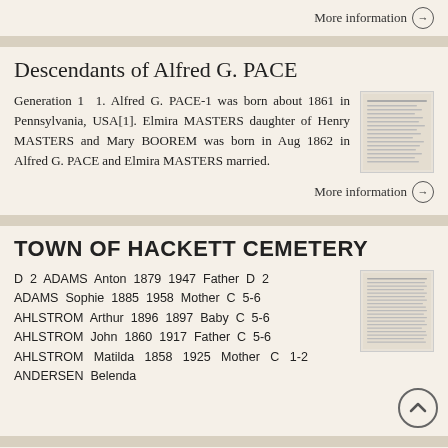More information →
Descendants of Alfred G. PACE
Generation 1 1. Alfred G. PACE-1 was born about 1861 in Pennsylvania, USA[1]. Elmira MASTERS daughter of Henry MASTERS and Mary BOOREM was born in Aug 1862 in Alfred G. PACE and Elmira MASTERS married.
[Figure (photo): Thumbnail image of a document page with text lines]
More information →
TOWN OF HACKETT CEMETERY
D 2 ADAMS Anton 1879 1947 Father D 2 ADAMS Sophie 1885 1958 Mother C 5-6 AHLSTROM Arthur 1896 1897 Baby C 5-6 AHLSTROM John 1860 1917 Father C 5-6 AHLSTROM Matilda 1858 1925 Mother C 1-2 ANDERSEN Belenda
[Figure (photo): Thumbnail image of a cemetery record list]
More information →